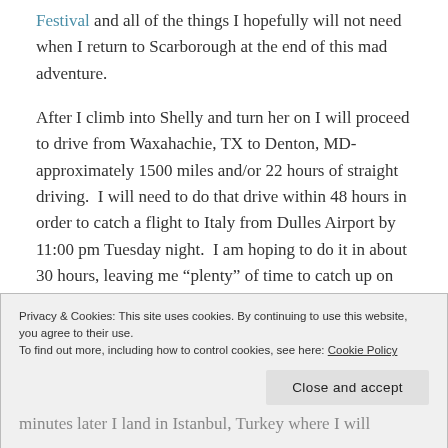Festival and all of the things I hopefully will not need when I return to Scarborough at the end of this mad adventure.
After I climb into Shelly and turn her on I will proceed to drive from Waxahachie, TX to Denton, MD- approximately 1500 miles and/or 22 hours of straight driving.  I will need to do that drive within 48 hours in order to catch a flight to Italy from Dulles Airport by 11:00 pm Tuesday night.  I am hoping to do it in about 30 hours, leaving me “plenty” of time to catch up on necessary things like renewing my business license and/or sleeping.
Privacy & Cookies: This site uses cookies. By continuing to use this website, you agree to their use.
To find out more, including how to control cookies, see here: Cookie Policy
Close and accept
minutes later I land in Istanbul, Turkey where I will